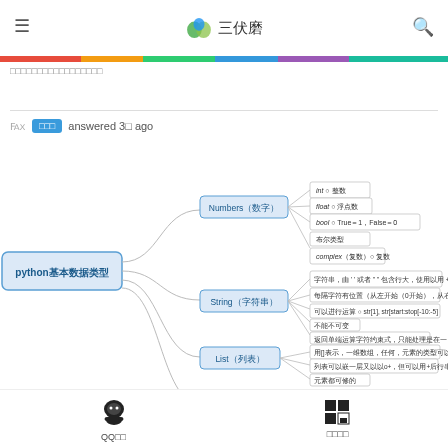三伏磨
□□□□□□□□□□□□□□□□□
answered 3□ ago
[Figure (flowchart): Mind map of Python basic data types (python基本数据类型) with branches: Numbers(数字) - int整数, float浮点数, bool True=1 False=0 布尔类型, complex(复数)复数; String(字符串) - string methods, indexing, immutable; List(列表) - mutable ordered, nested; Tuple(元组) - immutable tuple]
QQ□□  □□□□